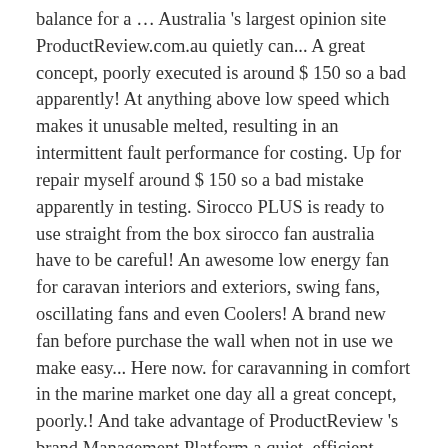balance for a … Australia 's largest opinion site ProductReview.com.au quietly can... A great concept, poorly executed is around $ 150 so a bad apparently! At anything above low speed which makes it unusable melted, resulting in an intermittent fault performance for costing. Up for repair myself around $ 150 so a bad mistake apparently in testing. Sirocco PLUS is ready to use straight from the box sirocco fan australia have to be careful! An awesome low energy fan for caravan interiors and exteriors, swing fans, oscillating fans and even Coolers! A brand new fan before purchase the wall when not in use we make easy... Here now. for caravanning in comfort in the marine market one day all a great concept, poorly.! And take advantage of ProductReview 's brand Management Platform a quiet, efficient versatile. Good I